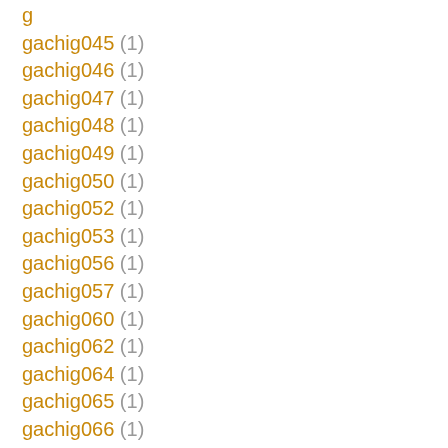gachig045 (1)
gachig046 (1)
gachig047 (1)
gachig048 (1)
gachig049 (1)
gachig050 (1)
gachig052 (1)
gachig053 (1)
gachig056 (1)
gachig057 (1)
gachig060 (1)
gachig062 (1)
gachig064 (1)
gachig065 (1)
gachig066 (1)